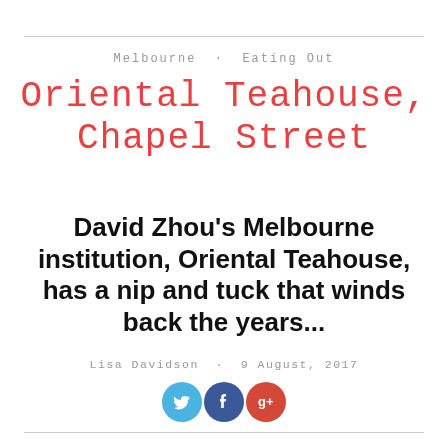Melbourne · Eating Out
Oriental Teahouse, Chapel Street
David Zhou's Melbourne institution, Oriental Teahouse, has a nip and tuck that winds back the years...
Lisa Davidson · 9 August, 2017
[Figure (other): Social media share buttons: Twitter (blue), Facebook (dark blue), Google+ (red)]
Combining the calm and muted atmosphere of a traditional Chinese tea ceremony with the dynamism of its Chapel Street location, interior and furniture